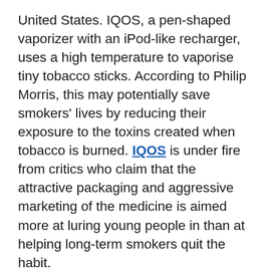United States. IQOS, a pen-shaped vaporizer with an iPod-like recharger, uses a high temperature to vaporise tiny tobacco sticks. According to Philip Morris, this may potentially save smokers' lives by reducing their exposure to the toxins created when tobacco is burned. IQOS is under fire from critics who claim that the attractive packaging and aggressive marketing of the medicine is aimed more at luring young people in than at helping long-term smokers quit the habit.
Whichever panel comes out on top in this debate will serve as a test case for the ever-expanding world of nicotine replacement products. It will become the first tobacco product in the United States to be marketed